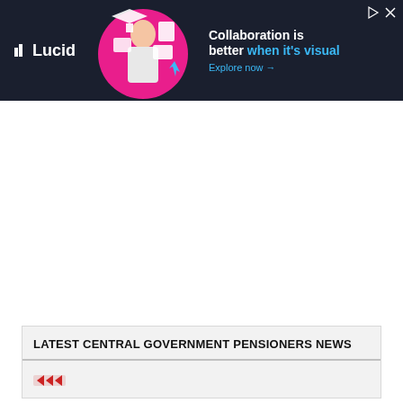[Figure (screenshot): Lucid advertisement banner with dark background showing 'Collaboration is better when it's visual. Explore now →' with an illustration of a person and geometric shapes, plus ad controls (play and close buttons)]
[Figure (other): A collapse/minimize tab button with an upward chevron arrow on a white background]
LATEST CENTRAL GOVERNMENT PENSIONERS NEWS